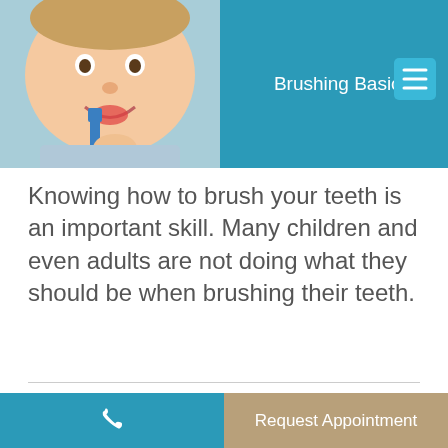[Figure (photo): Baby/toddler smiling and brushing teeth with a blue toothbrush]
Brushing Basics
Knowing how to brush your teeth is an important skill. Many children and even adults are not doing what they should be when brushing their teeth.
[Figure (infographic): Social sharing buttons: Facebook (f), Twitter (bird), Pinterest (p), and a plus (+) button]
Should Parents Help Children Brush Their Teeth?
Yes! Children, especially young ones, are not able to
Request Appointment